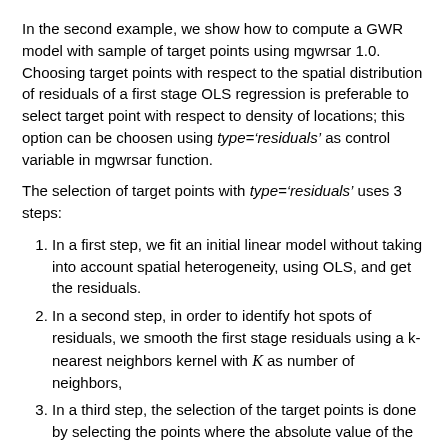In the second example, we show how to compute a GWR model with sample of target points using mgwrsar 1.0. Choosing target points with respect to the spatial distribution of residuals of a first stage OLS regression is preferable to select target point with respect to density of locations; this option can be choosen using type='residuals' as control variable in mgwrsar function.
The selection of target points with type='residuals' uses 3 steps:
In a first step, we fit an initial linear model without taking into account spatial heterogeneity, using OLS, and get the residuals.
In a second step, in order to identify hot spots of residuals, we smooth the first stage residuals using a k-nearest neighbors kernel with K as number of neighbors,
In a third step, the selection of the target points is done by selecting the points where the absolute value of the smoothed residuals is locally the highest among a kWtp neighborhood.
In order to get local maxima at fine scale, we use between twelve and sixteen neighbors (default) for kWtp. In the last